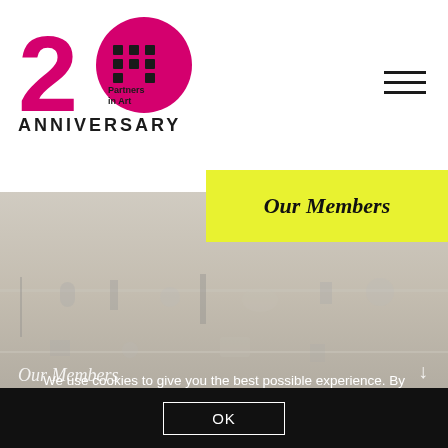[Figure (logo): 20th Anniversary Partners in Art logo — magenta '20' numeral with black exclamation/dot icon and 'Partners in Art' text, 'ANNIVERSARY' below in black]
[Figure (other): Hamburger menu icon (three horizontal lines) in top-right corner]
Our Members
[Figure (photo): Background photo of white-painted shelves or wall with various small art objects and items arranged on them]
We use cookies to give you the best possible experience. By continuing to use our website, you're agreeing to our use of cookies.
OK
Our Members